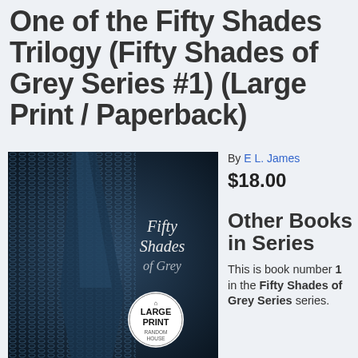Fifty Shades of Grey: Book One of the Fifty Shades Trilogy (Fifty Shades of Grey Series #1) (Large Print / Paperback)
[Figure (photo): Book cover of Fifty Shades of Grey Large Print edition showing a necktie against a dark background with 'Fifty Shades of Grey' text and a Large Print Random House circular badge]
By E L. James
$18.00
Other Books in Series
This is book number 1 in the Fifty Shades of Grey Series series.